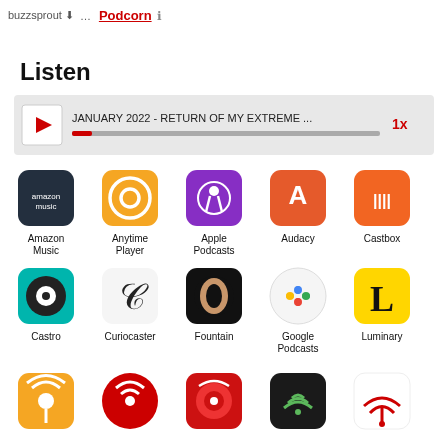buzzsprout … Podcorn
Listen
[Figure (other): Audio player widget showing: JANUARY 2022 - RETURN OF MY EXTREME ... with play button, progress bar, and 1x speed control]
[Figure (infographic): Grid of podcast platform icons: Amazon Music, Anytime Player, Apple Podcasts, Audacy, Castbox, Castro, Curiocaster, Fountain, Google Podcasts, Luminary, and 5 more partial icons in bottom row]